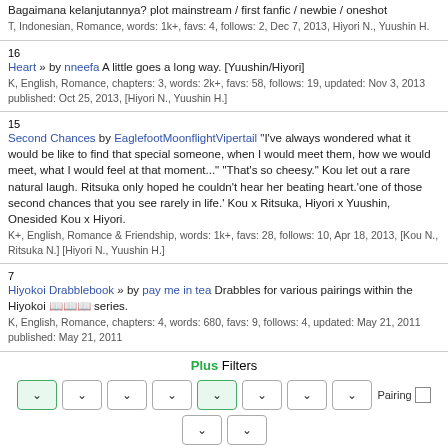Bagaimana kelanjutannya? plot mainstream / first fanfic / newbie / oneshot
T, Indonesian, Romance, words: 1k+, favs: 4, follows: 2, Dec 7, 2013, Hiyori N., Yuushin H.
Heart » by nneefa A little goes a long way. [Yuushin/Hiyori] 16
K, English, Romance, chapters: 3, words: 2k+, favs: 58, follows: 19, updated: Nov 3, 2013 published: Oct 25, 2013, [Hiyori N., Yuushin H.]
Second Chances by EaglefootMoonflightVipertail "I've always wondered what it would be like to find that special someone, when I would meet them, how we would meet, what I would feel at that moment..." "That's so cheesy." Kou let out a rare natural laugh. Ritsuka only hoped he couldn't hear her beating heart.'one of those second chances that you see rarely in life.' Kou x Ritsuka, Hiyori x Yuushin, Onesided Kou x Hiyori. 15
K+, English, Romance & Friendship, words: 1k+, favs: 28, follows: 10, Apr 18, 2013, [Kou N., Ritsuka N.] [Hiyori N., Yuushin H.]
Hiyokoi Drabblebook » by pay me in tea Drabbles for various pairings within the Hiyokoi series. 7
K, English, Romance, chapters: 4, words: 680, favs: 9, follows: 4, updated: May 21, 2011 published: May 21, 2011
Plus Filters
[Figure (other): Filter dropdowns row with green-highlighted dropdowns and Pairing checkbox]
Without Filters